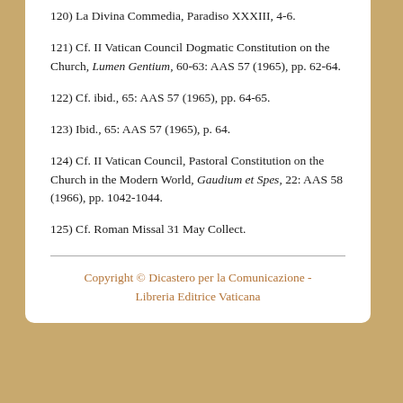120) La Divina Commedia, Paradiso XXXIII, 4-6.
121) Cf. II Vatican Council Dogmatic Constitution on the Church, Lumen Gentium, 60-63: AAS 57 (1965), pp. 62-64.
122) Cf. ibid., 65: AAS 57 (1965), pp. 64-65.
123) Ibid., 65: AAS 57 (1965), p. 64.
124) Cf. II Vatican Council, Pastoral Constitution on the Church in the Modern World, Gaudium et Spes, 22: AAS 58 (1966), pp. 1042-1044.
125) Cf. Roman Missal 31 May Collect.
Copyright © Dicastero per la Comunicazione - Libreria Editrice Vaticana